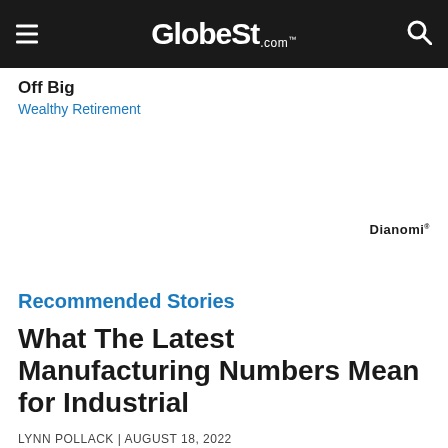GlobeSt.com
Off Big
Wealthy Retirement
[Figure (logo): Dianomi logo/label text]
Recommended Stories
What The Latest Manufacturing Numbers Mean for Industrial
LYNN POLLACK | AUGUST 18, 2022